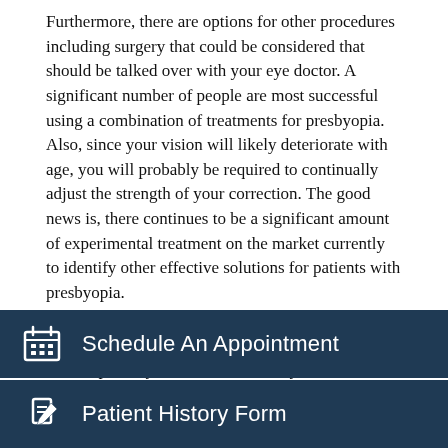Furthermore, there are options for other procedures including surgery that could be considered that should be talked over with your eye doctor. A significant number of people are most successful using a combination of treatments for presbyopia. Also, since your vision will likely deteriorate with age, you will probably be required to continually adjust the strength of your correction. The good news is, there continues to be a significant amount of experimental treatment on the market currently to identify other effective solutions for patients with presbyopia.
If you are starting to see signs of presbyopia, book a check up with your Temecula, CA eye doctor. Improved eyesight is just a call away!
[Figure (other): Dark blue button with calendar icon and text 'Schedule An Appointment']
[Figure (other): Dark blue button with pen/pencil icon and text 'Patient History Form']